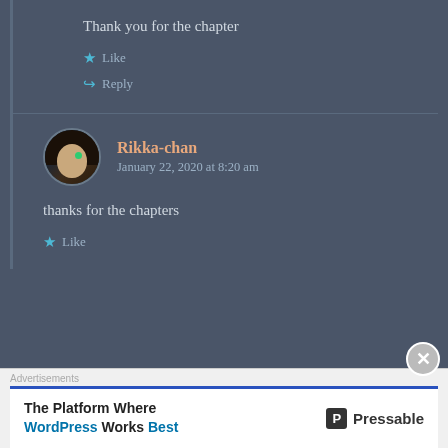Thank you for the chapter
★ Like
↪ Reply
Rikka-chan
January 22, 2020 at 8:20 am
thanks for the chapters
★ Like
Advertisements
The Platform Where WordPress Works Best
Pressable